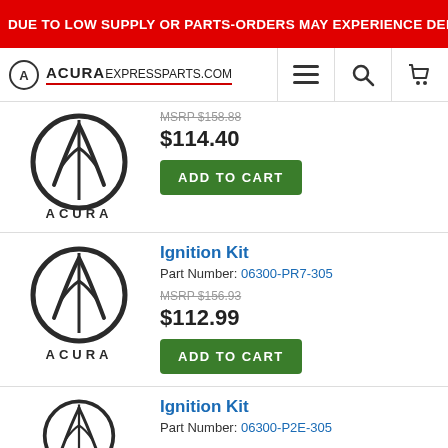DUE TO LOW SUPPLY OR PARTS-ORDERS MAY EXPERIENCE DELAY
[Figure (logo): Acura logo and ACURAEXPRESSPARTS.COM navigation bar with hamburger menu, search, and cart icons]
[Figure (logo): Acura logo - first product image]
MSRP $158.88
$114.40
ADD TO CART
[Figure (logo): Acura logo - second product image]
Ignition Kit
Part Number: 06300-PR7-305
MSRP $156.93
$112.99
ADD TO CART
[Figure (logo): Acura logo - third product image (partial)]
Ignition Kit
Part Number: 06300-P2E-305